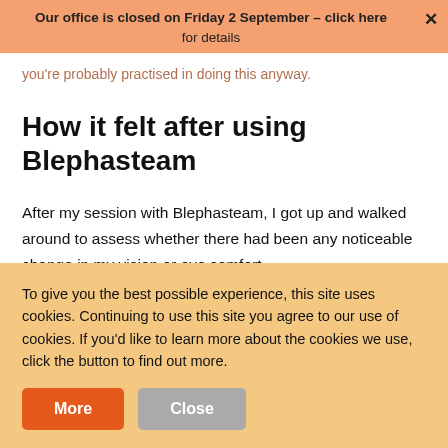Our office is closed on Friday 2 September – click here for details
you're probably practised in doing this anyway.
How it felt after using Blephasteam
After my session with Blephasteam, I got up and walked around to assess whether there had been any noticeable change in my vision or eye comfort.
And yes, the improvement in my eyes was definitely noticeable... bag. They felt fresher and pleasantly noticed and my blurry vi...
It felt much better ... immediately after putting in eye drops.
To give you the best possible experience, this site uses cookies. Continuing to use this site you agree to our use of cookies. If you'd like to learn more about the cookies we use, click the button to find out more.